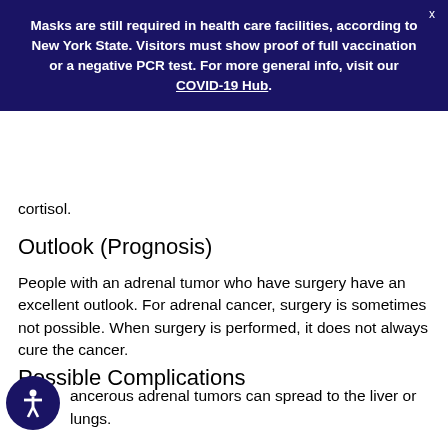Masks are still required in health care facilities, according to New York State. Visitors must show proof of full vaccination or a negative PCR test. For more general info, visit our COVID-19 Hub.
cortisol.
Outlook (Prognosis)
People with an adrenal tumor who have surgery have an excellent outlook. For adrenal cancer, surgery is sometimes not possible. When surgery is performed, it does not always cure the cancer.
Possible Complications
ancerous adrenal tumors can spread to the liver or lungs.